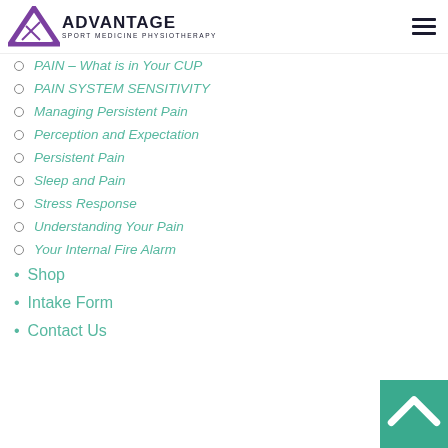ADVANTAGE SPORT MEDICINE PHYSIOTHERAPY
PAIN – What is in Your CUP
PAIN SYSTEM SENSITIVITY
Managing Persistent Pain
Perception and Expectation
Persistent Pain
Sleep and Pain
Stress Response
Understanding Your Pain
Your Internal Fire Alarm
Shop
Intake Form
Contact Us